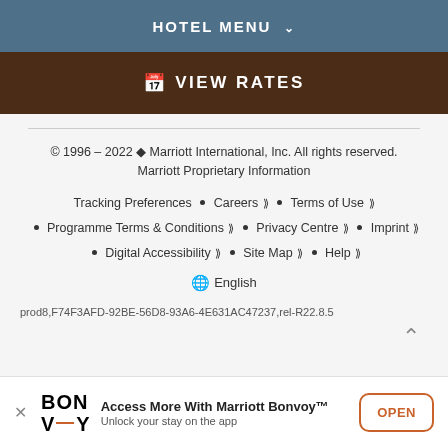HOTEL MENU ∨
📅 VIEW RATES
© 1996 – 2022 Marriott International, Inc. All rights reserved. Marriott Proprietary Information
Tracking Preferences • Careers > • Terms of Use > • Programme Terms & Conditions > • Privacy Centre > • Imprint > • Digital Accessibility > • Site Map > • Help >
🌐 English
prod8,F74F3AFD-92BE-56D8-93A6-4E631AC47237,rel-R22.8.5
Access More With Marriott Bonvoy™ Unlock your stay on the app